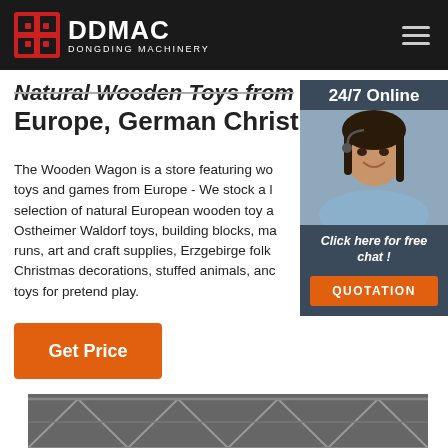DDMAC DONGDING MACHINERY
Natural Wooden Toys from Europe, German Christmas
The Wooden Wagon is a store featuring wooden toys and games from Europe - We stock a large selection of natural European wooden toy and Ostheimer Waldorf toys, building blocks, marble runs, art and craft supplies, Erzgebirge folk Christmas decorations, stuffed animals, and toys for pretend play.
[Figure (photo): Customer service representative woman with headset, smiling, with 24/7 Online label and Click here for free chat and QUOTATION button]
[Figure (photo): Steel roof truss structure photographed from below]
Get Price
24/7 Online
Click here for free chat !
QUOTATION